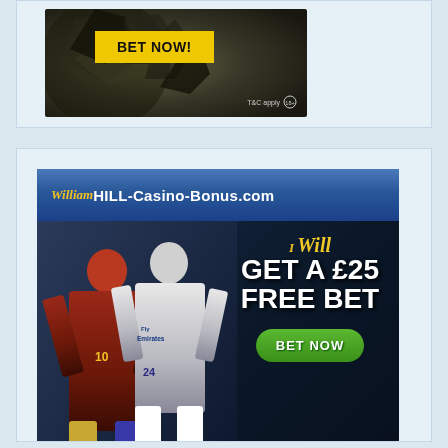[Figure (advertisement): Sports betting advertisement showing a soccer ball with a yellow 'BET NOW!' button and 'T&C apply' with 18+ circle icon]
[Figure (advertisement): William Hill Casino-Bonus.com advertisement showing two football players (one in Barcelona kit, one in PSG kit), with text 'I Will GET A £25 FREE BET' and a green 'BET NOW' button]